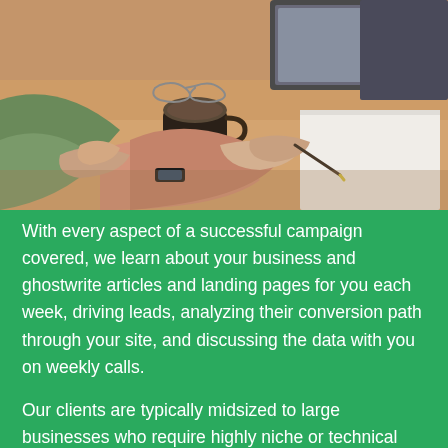[Figure (photo): Overhead view of people sitting around a table in a meeting, with hands visible, a coffee cup, notebook, and laptop in a warm-toned office setting.]
With every aspect of a successful campaign covered, we learn about your business and ghostwrite articles and landing pages for you each week, driving leads, analyzing their conversion path through your site, and discussing the data with you on weekly calls.
Our clients are typically midsized to large businesses who require highly niche or technical writing that is hard to achieve in-house and can be tricky to recruit. By